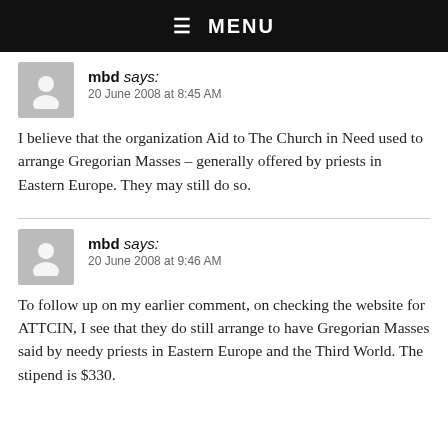☰ MENU
mbd says:
20 June 2008 at 8:45 AM
I believe that the organization Aid to The Church in Need used to arrange Gregorian Masses – generally offered by priests in Eastern Europe. They may still do so.
mbd says:
20 June 2008 at 9:46 AM
To follow up on my earlier comment, on checking the website for ATTCIN, I see that they do still arrange to have Gregorian Masses said by needy priests in Eastern Europe and the Third World. The stipend is $330.